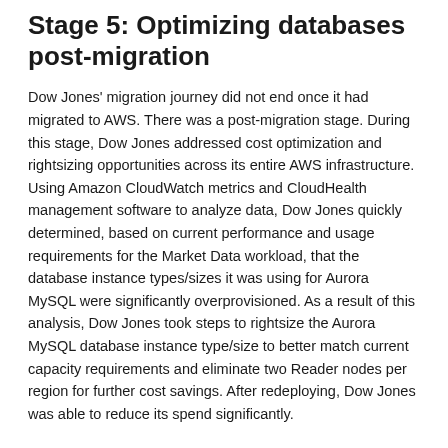Stage 5: Optimizing databases post-migration
Dow Jones' migration journey did not end once it had migrated to AWS. There was a post-migration stage. During this stage, Dow Jones addressed cost optimization and rightsizing opportunities across its entire AWS infrastructure. Using Amazon CloudWatch metrics and CloudHealth management software to analyze data, Dow Jones quickly determined, based on current performance and usage requirements for the Market Data workload, that the database instance types/sizes it was using for Aurora MySQL were significantly overprovisioned. As a result of this analysis, Dow Jones took steps to rightsize the Aurora MySQL database instance type/size to better match current capacity requirements and eliminate two Reader nodes per region for further cost savings. After redeploying, Dow Jones was able to reduce its spend significantly.
Conclusion